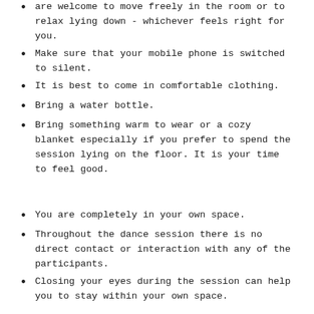are welcome to move freely in the room or to relax lying down - whichever feels right for you.
Make sure that your mobile phone is switched to silent.
It is best to come in comfortable clothing.
Bring a water bottle.
Bring something warm to wear or a cozy blanket especially if you prefer to spend the session lying on the floor. It is your time to feel good.
You are completely in your own space.
Throughout the dance session there is no direct contact or interaction with any of the participants.
Closing your eyes during the session can help you to stay within your own space.